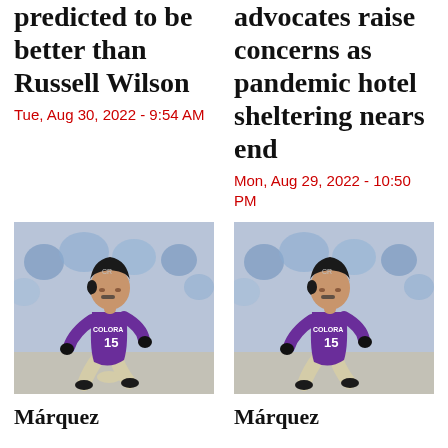predicted to be better than Russell Wilson
Tue, Aug 30, 2022 - 9:54 AM
advocates raise concerns as pandemic hotel sheltering nears end
Mon, Aug 29, 2022 - 10:50 PM
[Figure (photo): Baseball player in purple Colorado Rockies #15 jersey running, crowd in background]
[Figure (photo): Baseball player in purple Colorado Rockies #15 jersey running, crowd in background]
Márquez
Márquez